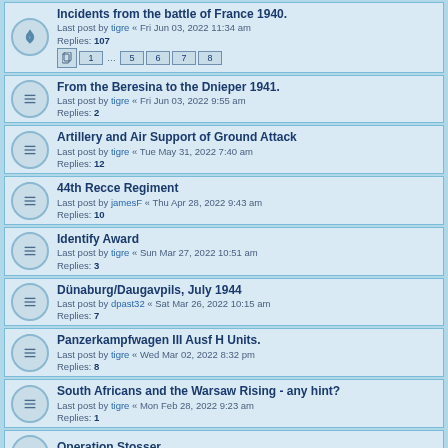Incidents from the battle of France 1940. Last post by tigre « Fri Jun 03, 2022 11:34 am Replies: 107
From the Beresina to the Dnieper 1941. Last post by tigre « Fri Jun 03, 2022 9:55 am Replies: 2
Artillery and Air Support of Ground Attack Last post by tigre « Tue May 31, 2022 7:40 am Replies: 12
44th Recce Regiment Last post by jamesF « Thu Apr 28, 2022 9:43 am Replies: 10
Identify Award Last post by tigre « Sun Mar 27, 2022 10:51 am Replies: 3
Dünaburg/Daugavpils, July 1944 Last post by dpast32 « Sat Mar 26, 2022 10:15 am Replies: 7
Panzerkampfwagen III Ausf H Units. Last post by tigre « Wed Mar 02, 2022 8:32 pm Replies: 8
South Africans and the Warsaw Rising - any hint? Last post by tigre « Mon Feb 28, 2022 9:23 am Replies: 1
Operation Stosser Last post by Bullman « Fri Feb 25, 2022 6:47 am
Narvik Shield